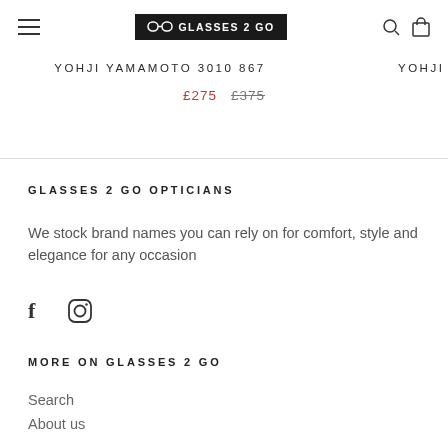GLASSES 2 GO (logo) | search icon | cart icon
YOHJI YAMAMOTO 3010 867   YOHJI
£275  £375
GLASSES 2 GO OPTICIANS
We stock brand names you can rely on for comfort, style and elegance for any occasion
[Figure (other): Social media icons: Facebook (f) and Instagram (circle with rounded square inside)]
MORE ON GLASSES 2 GO
Search
About us